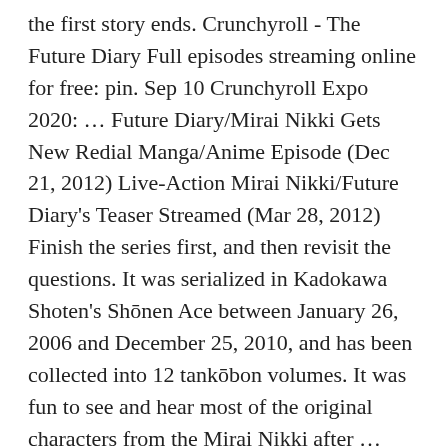the first story ends. Crunchyroll - The Future Diary Full episodes streaming online for free: pin. Sep 10 Crunchyroll Expo 2020: … Future Diary/Mirai Nikki Gets New Redial Manga/Anime Episode (Dec 21, 2012) Live-Action Mirai Nikki/Future Diary's Teaser Streamed (Mar 28, 2012) Finish the series first, and then revisit the questions. It was serialized in Kadokawa Shoten's Shōnen Ace between January 26, 2006 and December 25, 2010, and has been collected into 12 tankōbon volumes. It was fun to see and hear most of the original characters from the Mirai Nikki after … Redial concentration on third international yuno i admire Mirai Nikki Paradox because of the fact it featured heavily on Akise Aru <3 Mirai Nikki Mosaic exhibits the different characters' existence till now they acquire their mirai nikki. The problem is, eleven others also have similar diaries, and only one can win this Survival Game. Aca